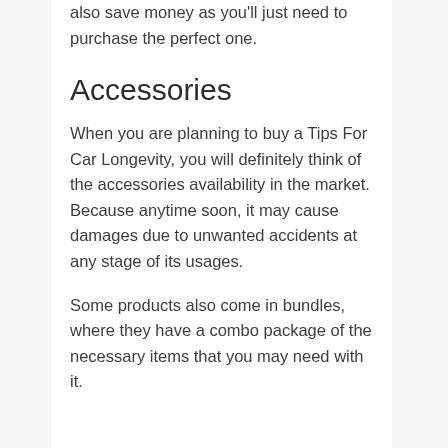also save money as you'll just need to purchase the perfect one.
Accessories
When you are planning to buy a Tips For Car Longevity, you will definitely think of the accessories availability in the market. Because anytime soon, it may cause damages due to unwanted accidents at any stage of its usages.
Some products also come in bundles, where they have a combo package of the necessary items that you may need with it.